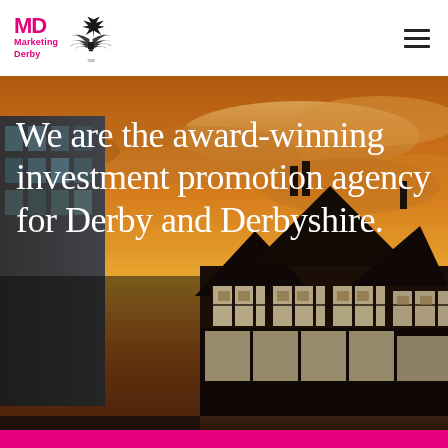[Figure (logo): MD Marketing Derby logo with pink bold MD letters and text below, alongside Queen's Award for Enterprise emblem with crown and wings]
[Figure (photo): Urban street scene with historic Tudor-style building and modern glass building against an orange/golden sunset sky with dramatic clouds]
We are the award-winning investment promotion agency for Derby and Derbyshire.